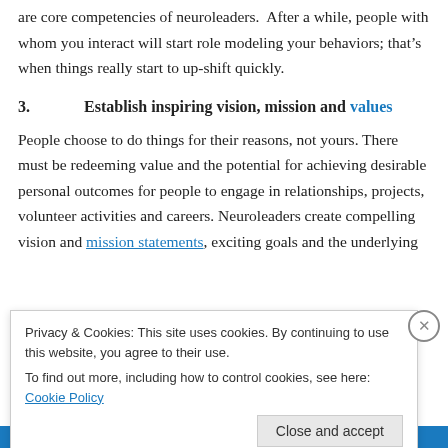are core competencies of neuroleaders.  After a while, people with whom you interact will start role modeling your behaviors; that’s when things really start to up-shift quickly.
3.      Establish inspiring vision, mission and values
People choose to do things for their reasons, not yours. There must be redeeming value and the potential for achieving desirable personal outcomes for people to engage in relationships, projects, volunteer activities and careers. Neuroleaders create compelling vision and mission statements, exciting goals and the underlying
Privacy & Cookies: This site uses cookies. By continuing to use this website, you agree to their use.
To find out more, including how to control cookies, see here: Cookie Policy
Close and accept